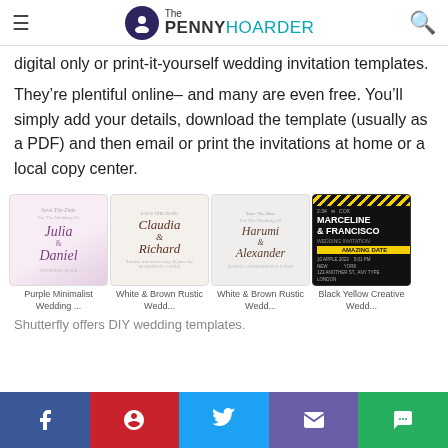The PENNY HOARDER
digital only or print-it-yourself wedding invitation templates.
They’re plentiful online– and many are even free. You’ll simply add your details, download the template (usually as a PDF) and then email or print the invitations at home or a local copy center.
[Figure (photo): Four wedding invitation templates side by side: Purple Minimalist Wedding, White & Brown Rustic Wedding (x2), Black Yellow Creative Wedding]
Shutterfly offers DIY wedding templates.
Social share bar: Facebook, Pinterest, Twitter, Email, Chat